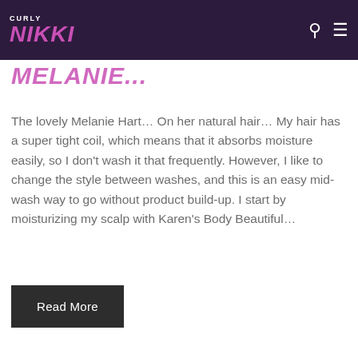CURLY NIKKI
MELANIE...
The lovely Melanie Hart… On her natural hair… My hair has a super tight coil, which means that it absorbs moisture easily, so I don't wash it that frequently. However, I like to change the style between washes, and this is an easy mid-wash way to go without product build-up. I start by moisturizing my scalp with Karen's Body Beautiful…
Read More